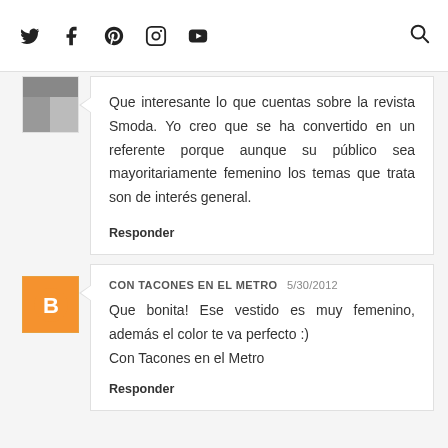Twitter Facebook Pinterest Instagram YouTube [Search]
Que interesante lo que cuentas sobre la revista Smoda. Yo creo que se ha convertido en un referente porque aunque su público sea mayoritariamente femenino los temas que trata son de interés general.
Responder
CON TACONES EN EL METRO  5/30/2012
Que bonita! Ese vestido es muy femenino, además el color te va perfecto :)
Con Tacones en el Metro
Responder